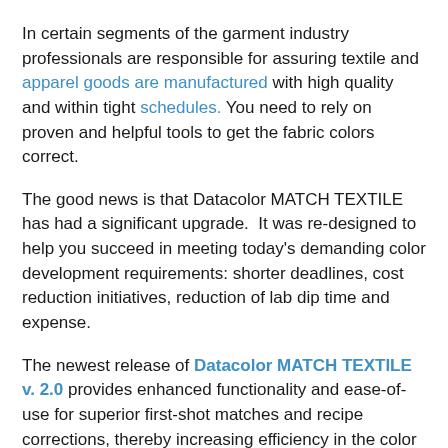In certain segments of the garment industry professionals are responsible for assuring textile and apparel goods are manufactured with high quality and within tight schedules. You need to rely on proven and helpful tools to get the fabric colors correct.
The good news is that Datacolor MATCH TEXTILE has had a significant upgrade.  It was re-designed to help you succeed in meeting today's demanding color development requirements: shorter deadlines, cost reduction initiatives, reduction of lab dip time and expense.
The newest release of Datacolor MATCH TEXTILE v. 2.0 provides enhanced functionality and ease-of-use for superior first-shot matches and recipe corrections, thereby increasing efficiency in the color development process.
Below are some of the upgrades to assist the fashion industry.